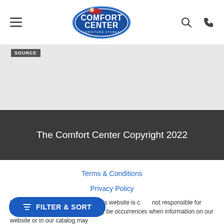[Figure (logo): Comfort Center Furniture Stores oval logo with white text on blue background]
[Figure (screenshot): Source badge/label in dark gray on light gray background area]
The Comfort Center Copyright 2022
Terms & Conditions
Privacy Policy
Accessibility
to ensure that the information on this website is c... not responsible for errors and/or omissions. There may be occurrences when information on our website or in our catalog may